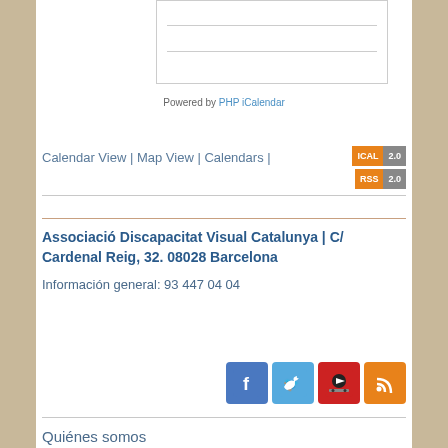[Figure (screenshot): Calendar widget partial view with horizontal divider lines]
Powered by PHP iCalendar
Calendar View | Map View | Calendars | [ICAL 2.0] [RSS 2.0]
Associació Discapacitat Visual Catalunya | C/ Cardenal Reig, 32. 08028 Barcelona
Información general: 93 447 04 04
[Figure (infographic): Social media icons: Facebook, Twitter, YouTube, RSS]
Quiénes somos